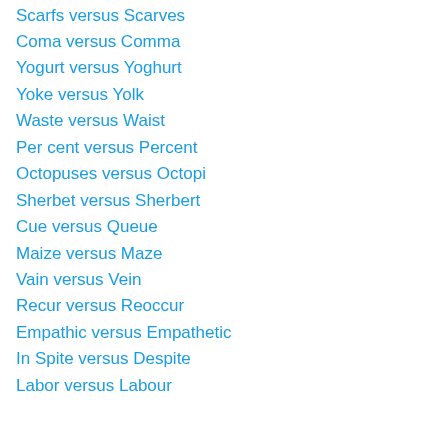Scarfs versus Scarves
Coma versus Comma
Yogurt versus Yoghurt
Yoke versus Yolk
Waste versus Waist
Per cent versus Percent
Octopuses versus Octopi
Sherbet versus Sherbert
Cue versus Queue
Maize versus Maze
Vain versus Vein
Recur versus Reoccur
Empathic versus Empathetic
In Spite versus Despite
Labor versus Labour